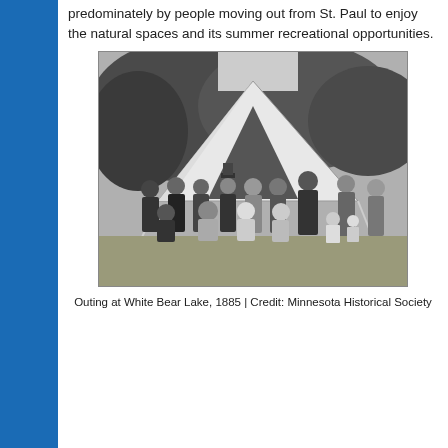predominately by people moving out from St. Paul to enjoy the natural spaces and its summer recreational opportunities.
[Figure (photo): Black and white photograph of a group of people posing in front of a large white canvas tent outdoors, with trees in the background. Men, women, and children are gathered, some seated and some standing.]
Outing at White Bear Lake, 1885 | Credit: Minnesota Historical Society